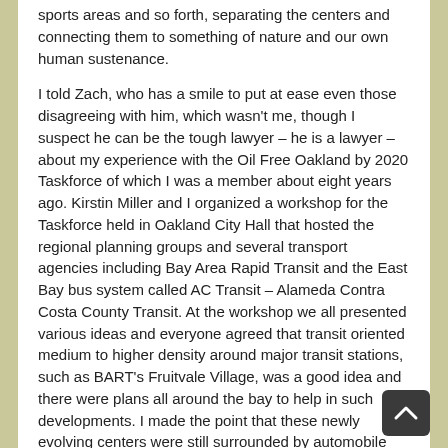sports areas and so forth, separating the centers and connecting them to something of nature and our own human sustenance.
I told Zach, who has a smile to put at ease even those disagreeing with him, which wasn't me, though I suspect he can be the tough lawyer – he is a lawyer – about my experience with the Oil Free Oakland by 2020 Taskforce of which I was a member about eight years ago. Kirstin Miller and I organized a workshop for the Taskforce held in Oakland City Hall that hosted the regional planning groups and several transport agencies including Bay Area Rapid Transit and the East Bay bus system called AC Transit – Alameda Contra Costa County Transit. At the workshop we all presented various ideas and everyone agreed that transit oriented medium to higher density around major transit stations, such as BART's Fruitvale Village, was a good idea and there were plans all around the bay to help in such developments. I made the point that these newly evolving centers were still surrounded by automobile dominated development. Were there any agencies